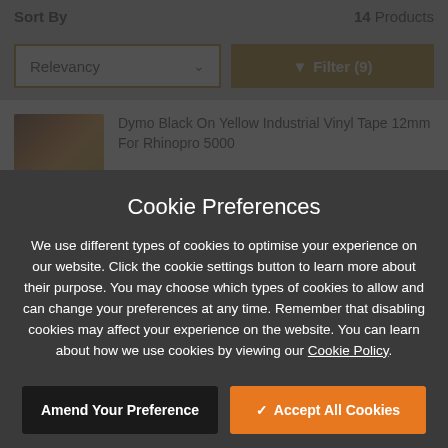Sort By
14 Products
Relevancy
Filter (9)
Dymo Black On Yellow Industrial Vinyl Tape 12mm For Rhinopro 5000
[Figure (screenshot): Product image showing Dymo label tape, black on yellow]
Cookie Preferences
We use different types of cookies to optimise your experience on our website. Click the cookie settings button to learn more about their purpose. You may choose which types of cookies to allow and can change your preferences at any time. Remember that disabling cookies may affect your experience on the website. You can learn about how we use cookies by viewing our Cookie Policy.
Amend Your Preference
Accept All Cookies